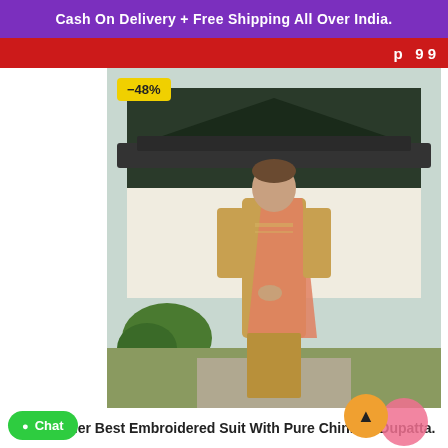Cash On Delivery + Free Shipping All Over India.
[Figure (photo): A woman wearing a golden embroidered salwar suit with a peach/salmon dupatta, standing in a garden with an Asian-style pavilion in the background. A yellow badge shows '-48%' discount.]
nd Designer Best Embroidered Suit With Pure Chinnon Dupatta.